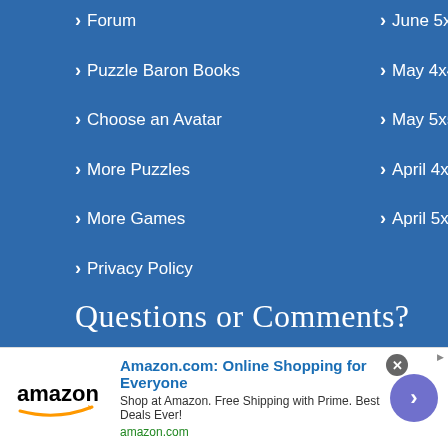› Forum
› June 5x5
› Puzzle Baron Books
› May 4x4
› Choose an Avatar
› May 5x5
› More Puzzles
› April 4x4
› More Games
› April 5x5
› Privacy Policy
Questions or Comments?
Name:
Email:
[Figure (other): Amazon advertisement banner with logo, headline 'Amazon.com: Online Shopping for Everyone', subtext 'Shop at Amazon. Free Shipping with Prime. Best Deals Ever!', URL 'amazon.com', close button and arrow button]